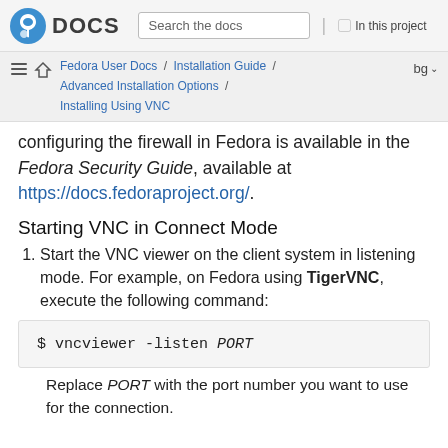DOCS | Search the docs | In this project
Fedora User Docs / Installation Guide / Advanced Installation Options / Installing Using VNC | bg
configuring the firewall in Fedora is available in the Fedora Security Guide, available at https://docs.fedoraproject.org/.
Starting VNC in Connect Mode
Start the VNC viewer on the client system in listening mode. For example, on Fedora using TigerVNC, execute the following command:
$ vncviewer -listen PORT
Replace PORT with the port number you want to use for the connection.